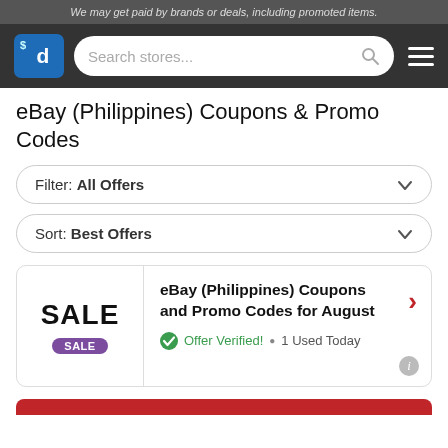We may get paid by brands or deals, including promoted items.
[Figure (logo): Savings.com $d logo and navigation bar with search field and hamburger menu]
eBay (Philippines) Coupons & Promo Codes
Filter: All Offers
Sort: Best Offers
eBay (Philippines) Coupons and Promo Codes for August
Offer Verified! • 1 Used Today